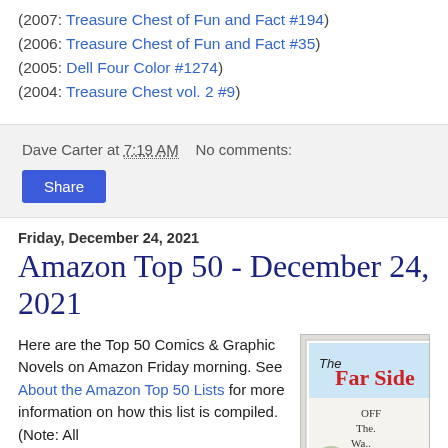(2007: Treasure Chest of Fun and Fact #194)
(2006: Treasure Chest of Fun and Fact #35)
(2005: Dell Four Color #1274)
(2004: Treasure Chest vol. 2 #9)
Dave Carter at 7:19 AM   No comments:
Share
Friday, December 24, 2021
Amazon Top 50 - December 24, 2021
Here are the Top 50 Comics & Graphic Novels on Amazon Friday morning. See About the Amazon Top 50 Lists for more information on how this list is compiled. (Note: All
[Figure (photo): The Far Side Off The Wall book/box set cover image]